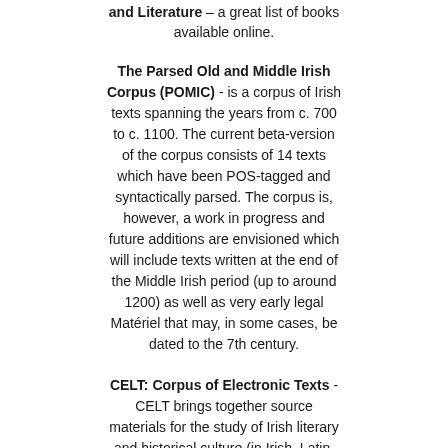and Literature – a great list of books available online.
The Parsed Old and Middle Irish Corpus (POMIC) - is a corpus of Irish texts spanning the years from c. 700 to c. 1100. The current beta-version of the corpus consists of 14 texts which have been POS-tagged and syntactically parsed. The corpus is, however, a work in progress and future additions are envisioned which will include texts written at the end of the Middle Irish period (up to around 1200) as well as very early legal Matériel that may, in some cases, be dated to the 7th century.
CELT: Corpus of Electronic Texts - CELT brings together source materials for the study of Irish literary and historical culture (in Irish, Latin, Anglo-Norman French, and English).